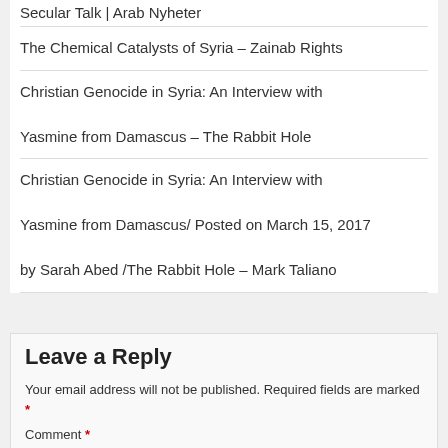Secular Talk | Arab Nyheter
The Chemical Catalysts of Syria – Zainab Rights
Christian Genocide in Syria: An Interview with Yasmine from Damascus – The Rabbit Hole
Christian Genocide in Syria: An Interview with Yasmine from Damascus/ Posted on March 15, 2017 by Sarah Abed /The Rabbit Hole – Mark Taliano
Leave a Reply
Your email address will not be published. Required fields are marked *
Comment *